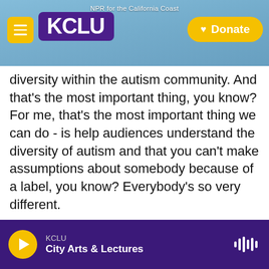[Figure (screenshot): KCLU NPR radio station website header with logo, menu button, and donate button over a coastal background image]
diversity within the autism community. And that's the most important thing, you know? For me, that's the most important thing we can do - is help audiences understand the diversity of autism and that you can't make assumptions about somebody because of a label, you know? Everybody's so very different.
PFEIFFER: Kaelynn, you're featured in this series, so the public is following along on your dating adventures. And that meant sharing a lot about your dating life and what you would like in a romantic relationship. Why did you want to be part
KCLU  City Arts & Lectures